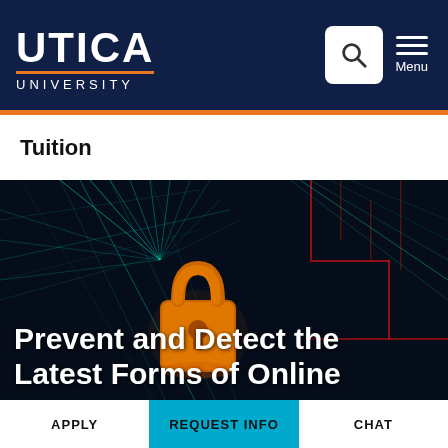[Figure (logo): Utica University logo with white text on dark navy background]
Tuition
[Figure (photo): Cybersecurity themed image with a glowing orange padlock on a dark circuit board background with teal and red light lines]
Prevent and Detect the Latest Forms of Online
APPLY | REQUEST INFO | CHAT